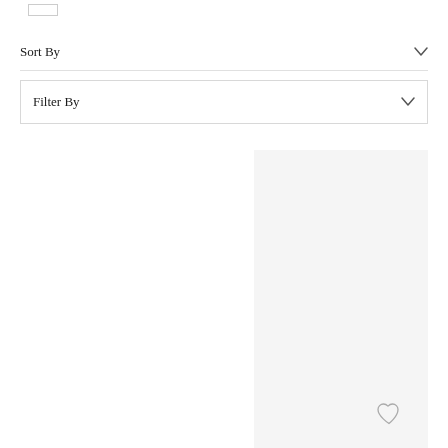[Figure (other): Small rectangular button/icon outline near top left]
Sort By
Filter By
[Figure (other): Product image placeholder panel with light gray background, heart/favorite icon at bottom right]